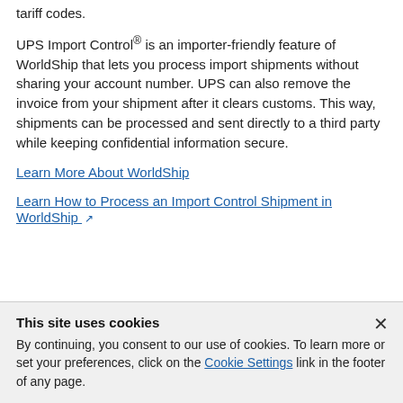tariff codes.
UPS Import Control® is an importer-friendly feature of WorldShip that lets you process import shipments without sharing your account number. UPS can also remove the invoice from your shipment after it clears customs. This way, shipments can be processed and sent directly to a third party while keeping confidential information secure.
Learn More About WorldShip
Learn How to Process an Import Control Shipment in WorldShip ↗
This site uses cookies
By continuing, you consent to our use of cookies. To learn more or set your preferences, click on the Cookie Settings link in the footer of any page.